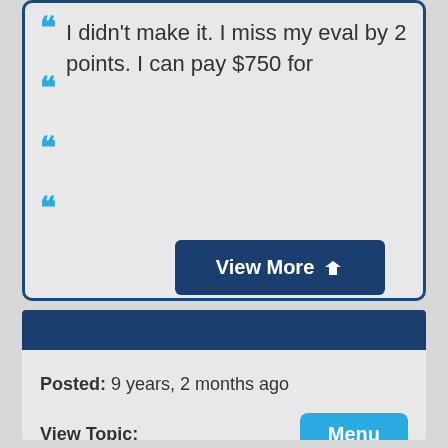I didn't make it. I miss my eval by 2 points. I can pay $750 for
View More
Posted: 9 years, 2 months ago
View Topic:
Menu